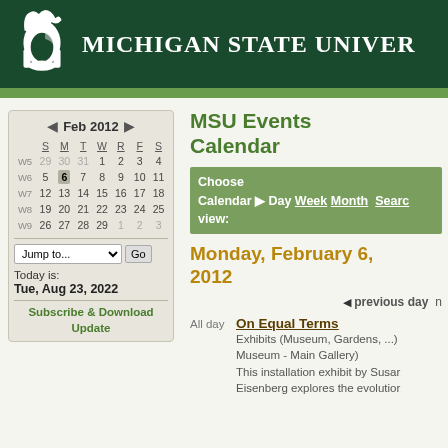MICHIGAN STATE UNIVERSITY
[Figure (screenshot): MSU Events Calendar webpage screenshot showing February 2012 calendar, navigation, and events for Monday February 6 2012]
MSU Events Calendar
Choose Calendar ▶ Day Week Month Search view:
Monday, February 6, 2012
◀ previous day  n
All day   On Equal Terms
Exhibits (Museum, Gardens, ...)
Museum - Main Gallery)
This installation exhibit by Susan Eisenberg explores the evolution